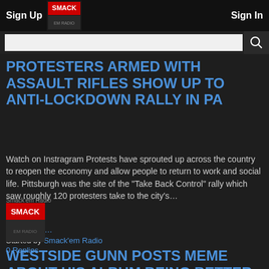Sign Up | Sign In
PROTESTERS ARMED WITH ASSAULT RIFLES SHOW UP TO ANTI-LOCKDOWN RALLY IN PA
Watch on Instragram Protests have sprouted up across the country to reopen the economy and allow people to return to work and social life. Pittsburgh was the site of the "Take Back Control" rally which saw roughly 120 protesters take to the city's…
Read more…
Started by Smack'em Radio
0 Replies
[Figure (photo): Smack'em Radio logo thumbnail]
WESTSIDE GUNN POSTS MEME ABOUT HIS ALBUM BEING BETTER THAN DA BABY'S